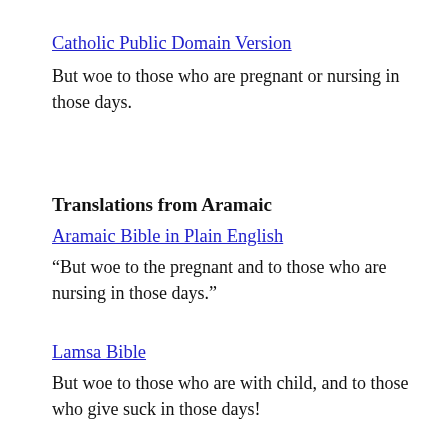Catholic Public Domain Version
But woe to those who are pregnant or nursing in those days.
Translations from Aramaic
Aramaic Bible in Plain English
“But woe to the pregnant and to those who are nursing in those days.”
Lamsa Bible
But woe to those who are with child, and to those who give suck in those days!